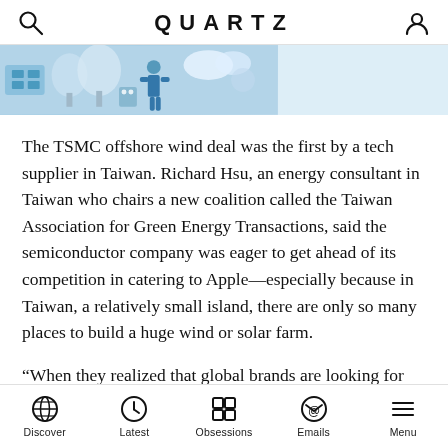QUARTZ
[Figure (illustration): Partial hero image strip showing illustrated scene with light blue background, figures and tech/environment themed artwork]
The TSMC offshore wind deal was the first by a tech supplier in Taiwan. Richard Hsu, an energy consultant in Taiwan who chairs a new coalition called the Taiwan Association for Green Energy Transactions, said the semiconductor company was eager to get ahead of its competition in catering to Apple—especially because in Taiwan, a relatively small island, there are only so many places to build a huge wind or solar farm.
“When they realized that global brands are looking for renewable manufacturing, they wanted to be very cautious by procuring renewable energy at an early stage, and securing as much as possible,” he said. “It can be a
Discover  Latest  Obsessions  Emails  Menu